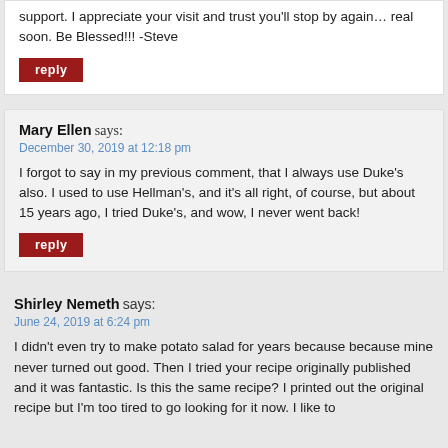support. I appreciate your visit and trust you'll stop by again… real soon. Be Blessed!!! -Steve
reply
Mary Ellen says:
December 30, 2019 at 12:18 pm
I forgot to say in my previous comment, that I always use Duke's also. I used to use Hellman's, and it's all right, of course, but about 15 years ago, I tried Duke's, and wow, I never went back!
reply
Shirley Nemeth says:
June 24, 2019 at 6:24 pm
I didn't even try to make potato salad for years because because mine never turned out good. Then I tried your recipe originally published and it was fantastic. Is this the same recipe? I printed out the original recipe but I'm too tired to go looking for it now. I like to